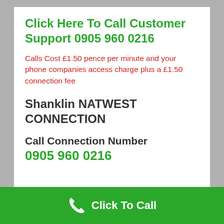Click Here To Call Customer Support 0905 960 0216
Calls Cost £1.50 pence per minute and your phone companies access charge plus a £1.50 connection fee
Shanklin NATWEST CONNECTION
Call Connection Number 0905 960 0216
Click To Call